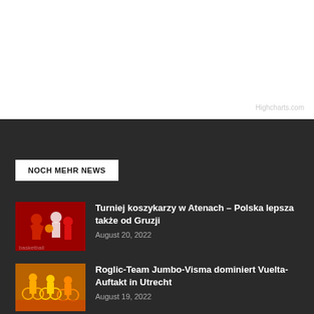[Figure (other): White background top section with Highcharts.com watermark]
Highcharts.com
NOCH MEHR NEWS
[Figure (photo): Basketball players in red and white uniforms playing at a tournament]
Turniej koszykarzy w Atenach – Polska lepsza także od Gruzji
August 20, 2022
[Figure (photo): Cyclists in yellow jerseys racing at Vuelta-Auftakt in Utrecht]
Roglic-Team Jumbo-Visma dominiert Vuelta-Auftakt in Utrecht
August 19, 2022